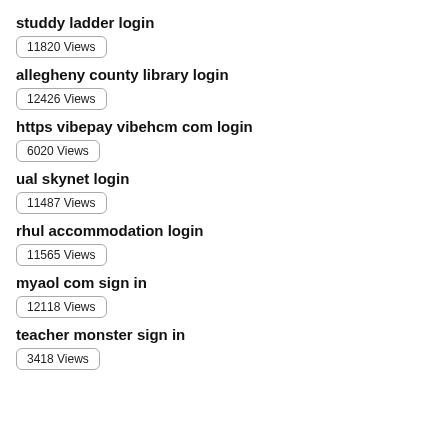studdy ladder login
11820 Views
allegheny county library login
12426 Views
https vibepay vibehcm com login
6020 Views
ual skynet login
11487 Views
rhul accommodation login
11565 Views
myaol com sign in
12118 Views
teacher monster sign in
3418 Views